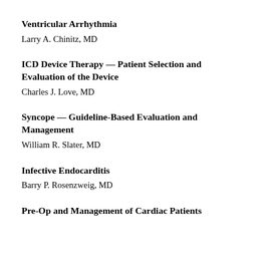Ventricular Arrhythmia
Larry A. Chinitz, MD
ICD Device Therapy — Patient Selection and Evaluation of the Device
Charles J. Love, MD
Syncope — Guideline-Based Evaluation and Management
William R. Slater, MD
Infective Endocarditis
Barry P. Rosenzweig, MD
Pre-Op and Management of Cardiac Patients